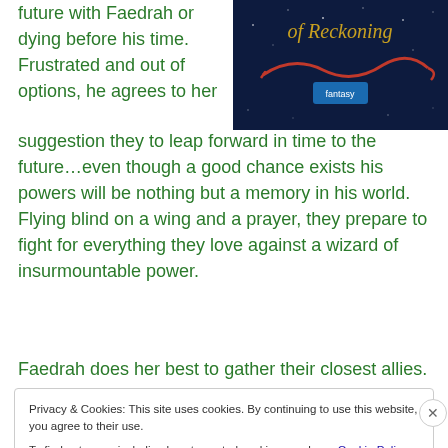future with Faedrah or dying before his time. Frustrated and out of options, he agrees to her suggestion they to leap forward in time to the future…even though a good chance exists his powers will be nothing but a memory in his world. Flying blind on a wing and a prayer, they prepare to fight for everything they love against a wizard of insurmountable power.
[Figure (photo): Book cover with dark blue background showing 'of Reckoning' title in gold italic text with red swirl decoration and a fantasy badge]
Faedrah does her best to gather their closest allies. The
Privacy & Cookies: This site uses cookies. By continuing to use this website, you agree to their use.
To find out more, including how to control cookies, see here: Cookie Policy
Close and accept